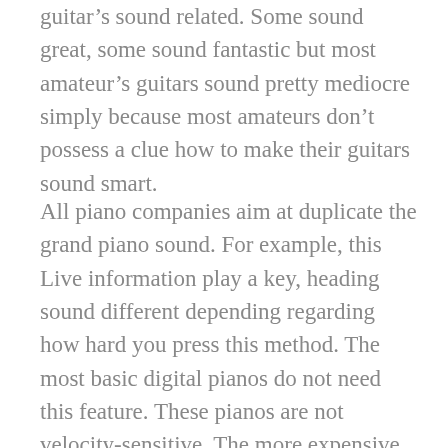guitar's sound related. Some sound great, some sound fantastic but most amateur's guitars sound pretty mediocre simply because most amateurs don't possess a clue how to make their guitars sound smart.
All piano companies aim at duplicate the grand piano sound. For example, this Live information play a key, heading sound different depending regarding how hard you press this method. The most basic digital pianos do not need this feature. These pianos are not velocity-sensitive. The more expensive pianos are velocity sensitive, and it differs from piano to piano. Some digital pianos may only have one velocity layer. Some may have 10 velocity layers. Of course, more layers generally mean more expressivity in your performances. Should truly bring your composition